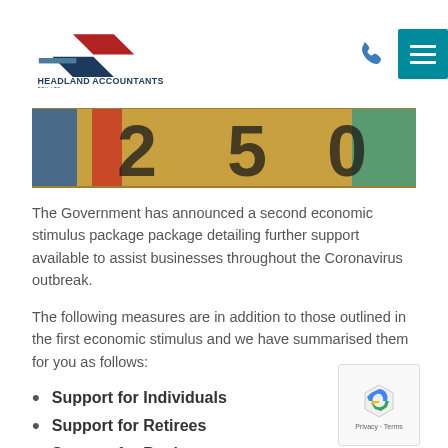Headland Accountants Pty Ltd
[Figure (photo): Banner image showing colorful Australian banknotes with numbers visible]
The Government has announced a second economic stimulus package package detailing further support available to assist businesses throughout the Coronavirus outbreak.
The following measures are in addition to those outlined in the first economic stimulus and we have summarised them for you as follows:
Support for Individuals
Support for Retirees
Support for Businesses